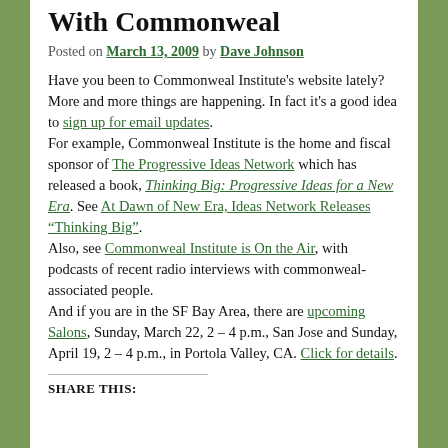With Commonweal
Posted on March 13, 2009 by Dave Johnson
Have you been to Commonweal Institute's website lately? More and more things are happening. In fact it's a good idea to sign up for email updates. For example, Commonweal Institute is the home and fiscal sponsor of The Progressive Ideas Network which has released a book, Thinking Big: Progressive Ideas for a New Era. See At Dawn of New Era, Ideas Network Releases “Thinking Big”. Also, see Commonweal Institute is On the Air, with podcasts of recent radio interviews with commonweal-associated people. And if you are in the SF Bay Area, there are upcoming Salons, Sunday, March 22, 2 – 4 p.m., San Jose and Sunday, April 19, 2 – 4 p.m., in Portola Valley, CA. Click for details.
SHARE THIS: